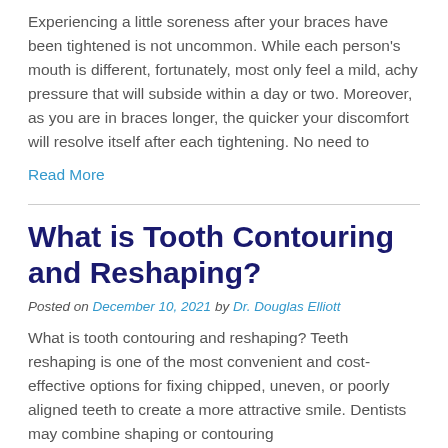Experiencing a little soreness after your braces have been tightened is not uncommon. While each person's mouth is different, fortunately, most only feel a mild, achy pressure that will subside within a day or two. Moreover, as you are in braces longer, the quicker your discomfort will resolve itself after each tightening. No need to
Read More
What is Tooth Contouring and Reshaping?
Posted on December 10, 2021 by Dr. Douglas Elliott
What is tooth contouring and reshaping? Teeth reshaping is one of the most convenient and cost-effective options for fixing chipped, uneven, or poorly aligned teeth to create a more attractive smile. Dentists may combine shaping or contouring